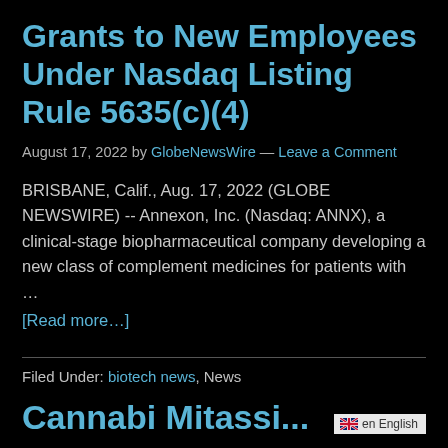Grants to New Employees Under Nasdaq Listing Rule 5635(c)(4)
August 17, 2022 by GlobeNewsWire — Leave a Comment
BRISBANE, Calif., Aug. 17, 2022 (GLOBE NEWSWIRE) -- Annexon, Inc. (Nasdaq: ANNX), a clinical-stage biopharmaceutical company developing a new class of complement medicines for patients with … [Read more...]
Filed Under: biotech news, News
Cannabi Mitassi...